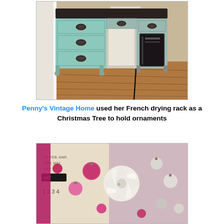[Figure (photo): Photo of a painted vintage/antique desk with mint/teal-colored drawers on the left side, dark top, and a computer tower stored in the right side cabinet. The desk sits on a hardwood floor.]
Penny's Vintage Home used her French drying rack as a Christmas Tree to hold ornaments
[Figure (photo): Photo of Christmas ornaments including pink and white ball ornaments and a white flower ornament, with a vintage calendar or tag visible in the background.]